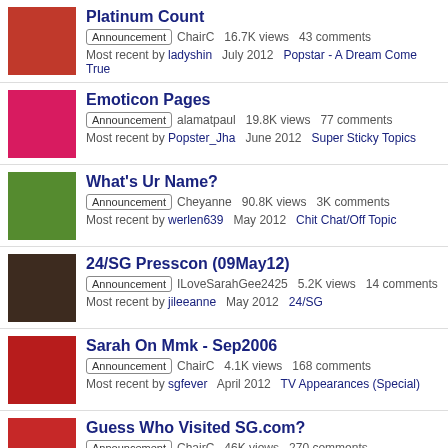Platinum Count | Announcement | ChairC | 16.7K views | 43 comments | Most recent by ladyshin | July 2012 | Popstar - A Dream Come True
Emoticon Pages | Announcement | alamatpaul | 19.8K views | 77 comments | Most recent by Popster_Jha | June 2012 | Super Sticky Topics
What's Ur Name? | Announcement | Cheyanne | 90.8K views | 3K comments | Most recent by werlen639 | May 2012 | Chit Chat/Off Topic
24/SG Presscon (09May12) | Announcement | ILoveSarahGee2425 | 5.2K views | 14 comments | Most recent by jileeanne | May 2012 | 24/SG
Sarah On Mmk - Sep2006 | Announcement | ChairC | 4.1K views | 168 comments | Most recent by sgfever | April 2012 | TV Appearances (Special)
Guess Who Visited SG.com? | Announcement | ChairC | 46K views | 270 comments | Most recent by SasaGegeForever | March 2012 | Special Features